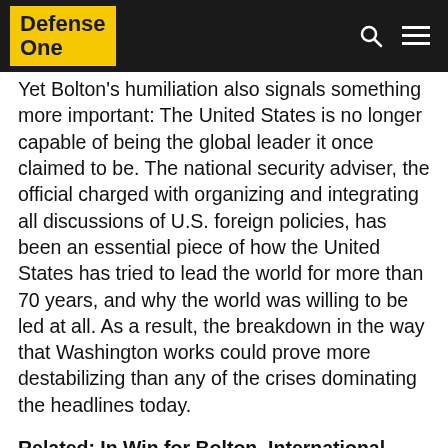Defense One
Yet Bolton's humiliation also signals something more important: The United States is no longer capable of being the global leader it once claimed to be. The national security adviser, the official charged with organizing and integrating all discussions of U.S. foreign policies, has been an essential piece of how the United States has tried to lead the world for more than 70 years, and why the world was willing to be led at all. As a result, the breakdown in the way that Washington works could prove more destabilizing than any of the crises dominating the headlines today.
Related: In Win for Bolton, International Criminal Court Will Not Prosecute US Troops
Related: Trump's Abrupt Syria Reversal Confounds His Own Administration, GOP Allies